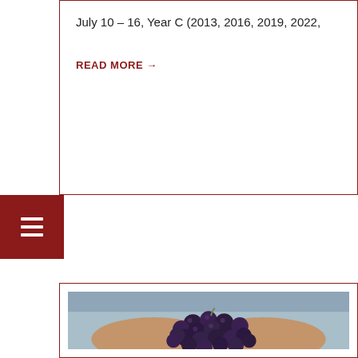July 10 – 16, Year C (2013, 2016, 2019, 2022,
READ MORE →
[Figure (other): Dark red/maroon hamburger menu icon (three horizontal lines) on a dark red square background]
[Figure (photo): Photograph of two hands cupped together holding a large bunch of dark purple/blue grapes, person wearing a light blue/grey shirt, outdoor setting]